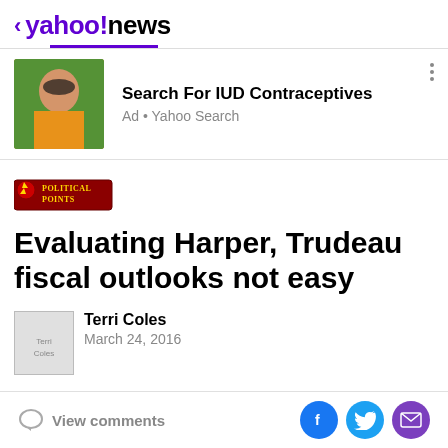< yahoo!news
[Figure (photo): Advertisement banner with photo of young woman in yellow top, for IUD Contraceptives search on Yahoo Search]
Search For IUD Contraceptives
Ad • Yahoo Search
[Figure (logo): Political Points logo with eagle graphic]
Evaluating Harper, Trudeau fiscal outlooks not easy
[Figure (photo): Author thumbnail photo of Terri Coles]
Terri Coles
March 24, 2016
View comments